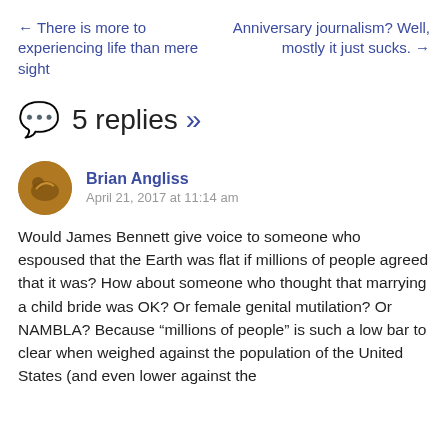← There is more to experiencing life than mere sight
Anniversary journalism? Well, mostly it just sucks. →
5 replies »
Brian Angliss
April 21, 2017 at 11:14 am
Would James Bennett give voice to someone who espoused that the Earth was flat if millions of people agreed that it was? How about someone who thought that marrying a child bride was OK? Or female genital mutilation? Or NAMBLA? Because “millions of people” is such a low bar to clear when weighed against the population of the United States (and even lower against the total human population) that this justification should be and